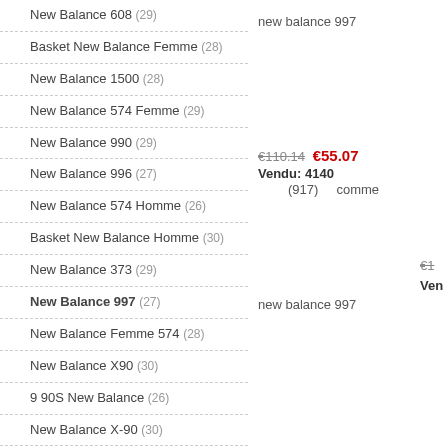New Balance 608 (29)
Basket New Balance Femme (28)
New Balance 1500 (28)
New Balance 574 Femme (29)
New Balance 990 (29)
New Balance 996 (27)
New Balance 574 Homme (26)
Basket New Balance Homme (30)
New Balance 373 (29)
New Balance 997 (27)
New Balance Femme 574 (28)
New Balance X90 (30)
9 90S New Balance (26)
New Balance X-90 (30)
New Balance 420 (29)
New Balance 420 S (22)
new balance 997
€110.14  €55.07
Vendu: 4140
(917)  comme
new balance 997